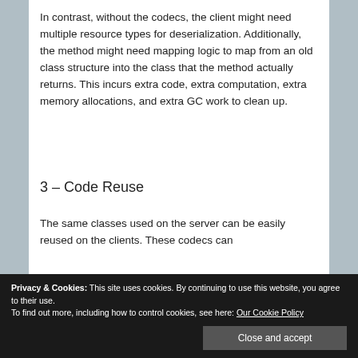In contrast, without the codecs, the client might need multiple resource types for deserialization. Additionally, the method might need mapping logic to map from an old class structure into the class that the method actually returns. This incurs extra code, extra computation, extra memory allocations, and extra GC work to clean up.
3 – Code Reuse
The same classes used on the server can be easily reused on the clients. These codecs can
In contrast, a client implemented by code
Privacy & Cookies: This site uses cookies. By continuing to use this website, you agree to their use.
To find out more, including how to control cookies, see here: Our Cookie Policy